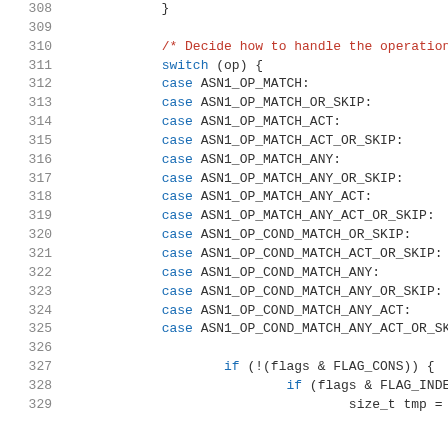[Figure (screenshot): Source code listing showing lines 308-329 of a C program. The code shows a switch statement on variable 'op' with multiple case labels for ASN1 operation constants, followed by conditional if statements checking flags.]